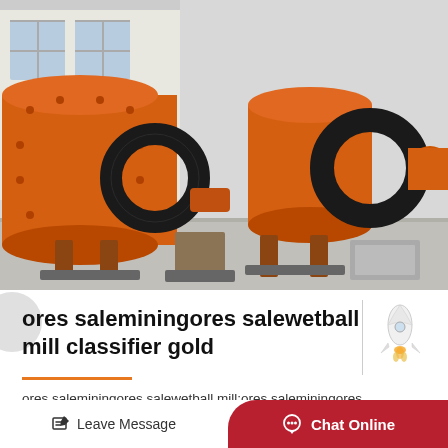[Figure (photo): Large orange ball mill / wet ball mill classifier machine in an industrial factory setting. Two cylindrical drums with large black gear rings, mounted on supports, orange painted metal.]
ores saleminingores salewetball mill classifier gold
ores saleminingores salewetball mill;ores saleminingores salewetball mill Effici... Thi...